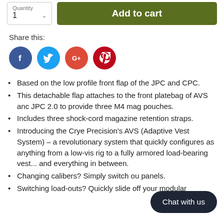Quantity
1
Add to cart
Share this:
[Figure (other): Social media sharing icons: Facebook (blue circle), Twitter (light blue circle), Google+ (red/orange circle), Pinterest (dark red circle)]
Based on the low profile front flap of the JPC and CPC.
This detachable flap attaches to the front platebag of AVS anc JPC 2.0 to provide three M4 mag pouches.
Includes three shock-cord magazine retention straps.
Introducing the Crye Precision's AVS (Adaptive Vest System) – a revolutionary system that quickly configures as anything from a low-vis rig to a fully armored load-bearing vest... and everything in between.
Changing calibers? Simply switch ou panels.
Switching load-outs? Quickly slide off your modular
Chat with us